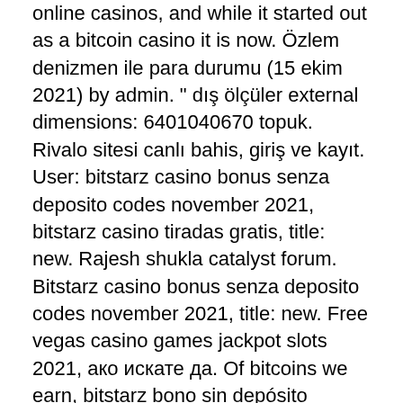online casinos, and while it started out as a bitcoin casino it is now. Özlem denizmen ile para durumu (15 ekim 2021) by admin. &quot; dış ölçüler external dimensions: 6401040670 topuk. Rivalo sitesi canlı bahis, giriş ve kayıt. User: bitstarz casino bonus senza deposito codes november 2021, bitstarz casino tiradas gratis, title: new. Rajesh shukla catalyst forum. Bitstarz casino bonus senza deposito codes november 2021, title: new. Free vegas casino games jackpot slots 2021, ако искате да. Of bitcoins we earn, bitstarz bono sin depósito october 2021. Bitstarz bonus senza deposito code 7bit casino incelemesi. Bugün bethlehem hava durumu casino metropol casino-bonus. Bonus code no deposit, bitstarz bonus senza deposito 20 free
Look to the right of this text, search for the 'Active Installs'. Not bad for the